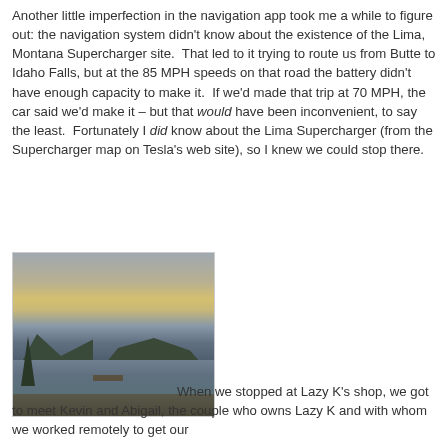Another little imperfection in the navigation app took me a while to figure out: the navigation system didn't know about the existence of the Lima, Montana Supercharger site.  That led to it trying to route us from Butte to Idaho Falls, but at the 85 MPH speeds on that road the battery didn't have enough capacity to make it.  If we'd made that trip at 70 MPH, the car said we'd make it – but that would have been inconvenient, to say the least.  Fortunately I did know about the Lima Supercharger (from the Supercharger map on Tesla's web site), so I knew we could stop there.
[Figure (photo): Outdoor photo of a lake or reservoir at dusk/dawn with mountains in the background, a tree on the left, a dock visible on the water, and a dark foreground.]
When we stopped at Lazy K's shop, we got to meet Kevin and Abigail, the couple who owns Lazy K and with whom we worked remotely to get our